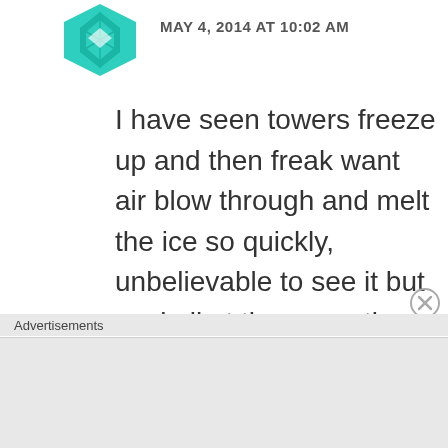[Figure (illustration): Teal/green geometric avatar icon (diamond/star pattern)]
MAY 4, 2014 AT 10:02 AM
I have seen towers freeze up and then freak want air blow through and melt the ice so quickly, unbelievable to see it but cool all at the same time. <——WHAT WERE YOU TRYING TO SAY?
Like
Advertisements